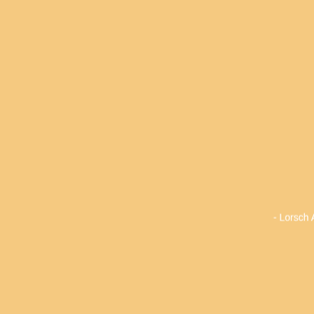- Lorsch Abbey Cultural World Her